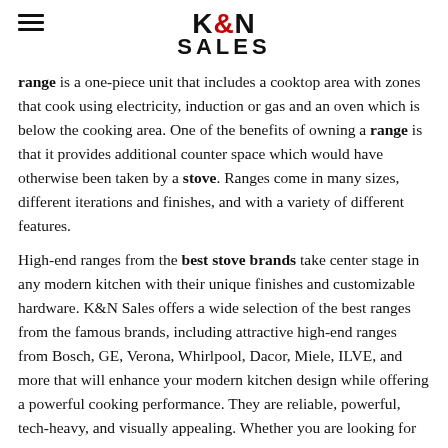K&N SALES
range is a one-piece unit that includes a cooktop area with zones that cook using electricity, induction or gas and an oven which is below the cooking area. One of the benefits of owning a range is that it provides additional counter space which would have otherwise been taken by a stove. Ranges come in many sizes, different iterations and finishes, and with a variety of different features.
High-end ranges from the best stove brands take center stage in any modern kitchen with their unique finishes and customizable hardware. K&N Sales offers a wide selection of the best ranges from the famous brands, including attractive high-end ranges from Bosch, GE, Verona, Whirlpool, Dacor, Miele, ILVE, and more that will enhance your modern kitchen design while offering a powerful cooking performance. They are reliable, powerful, tech-heavy, and visually appealing. Whether you are looking for